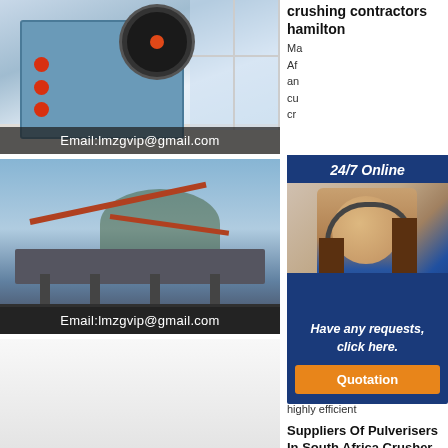[Figure (photo): Jaw crusher machine in a showroom with large black flywheel and orange accents, with email overlay]
[Figure (photo): Mobile crusher plant outdoors with conveyors and red steel structure against sky, with email overlay]
[Figure (photo): Third machinery image, light background, partially visible]
crushing contractors hamilton
Ma... Af... an... cu... cr...
Co... Ty... Do... Cr...
Co... al... double stage crusher, is a highly efficient
Suppliers Of Pulverisers In South Africa Crusher Mills
[Figure (infographic): 24/7 Online popup widget with woman wearing headset, 'Have any requests, click here.' text, and Quotation button]